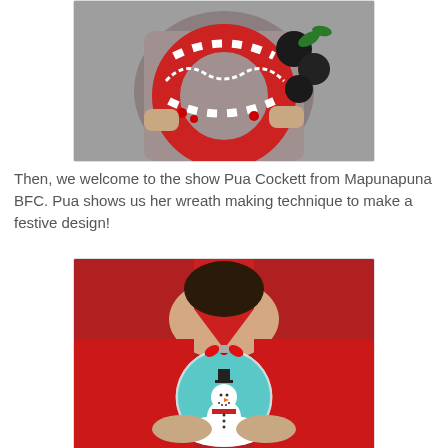[Figure (photo): A person holding a festive red-and-white candy cane style Christmas wreath decorated with black ornaments, red berries, and pearl strands.]
Then, we welcome to the show Pua Cockett from Mapunapuna BFC. Pua shows us her wreath making technique to make a festive design!
[Figure (photo): A woman in a red sweater holding a clear glass Christmas ornament ball with a snowman design inside, decorated with a red bow on top.]